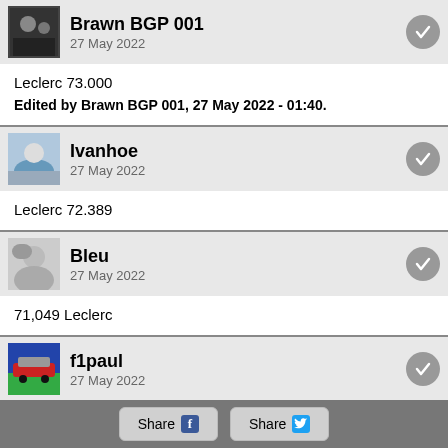Brawn BGP 001
27 May 2022
Leclerc 73.000
Edited by Brawn BGP 001, 27 May 2022 - 01:40.
Ivanhoe
27 May 2022
Leclerc 72.389
Bleu
27 May 2022
71,049 Leclerc
f1paul
27 May 2022
74.889
Share  Share